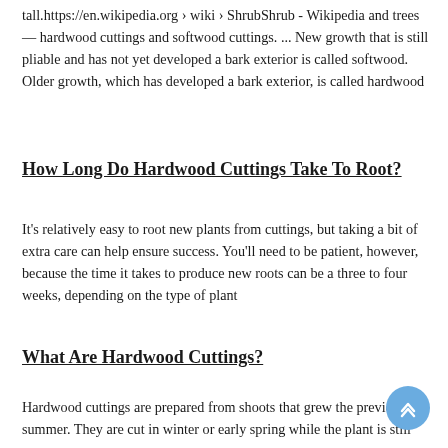tall.https://en.wikipedia.org › wiki › ShrubShrub - Wikipedia and trees — hardwood cuttings and softwood cuttings. ... New growth that is still pliable and has not yet developed a bark exterior is called softwood. Older growth, which has developed a bark exterior, is called hardwood
How Long Do Hardwood Cuttings Take To Root?
It's relatively easy to root new plants from cuttings, but taking a bit of extra care can help ensure success. You'll need to be patient, however, because the time it takes to produce new roots can be a three to four weeks, depending on the type of plant
What Are Hardwood Cuttings?
Hardwood cuttings are prepared from shoots that grew the previous summer. They are cut in winter or early spring while the plant is still